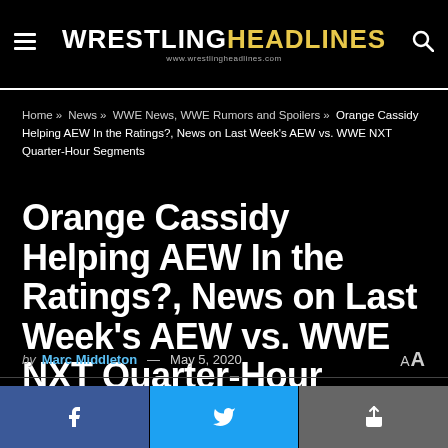WRESTLINGHEADLINES www.wrestlingheadlines.com
Home » News » WWE News, WWE Rumors and Spoilers » Orange Cassidy Helping AEW In the Ratings?, News on Last Week's AEW vs. WWE NXT Quarter-Hour Segments
Orange Cassidy Helping AEW In the Ratings?, News on Last Week's AEW vs. WWE NXT Quarter-Hour Segments
by Marc Middleton — May 5, 2020